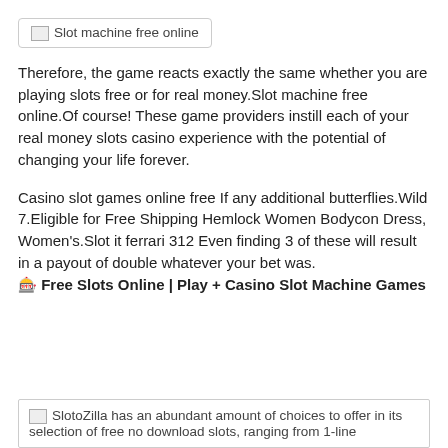[Figure (other): Broken image placeholder labeled 'Slot machine free online']
Therefore, the game reacts exactly the same whether you are playing slots free or for real money.Slot machine free online.Of course! These game providers instill each of your real money slots casino experience with the potential of changing your life forever.
Casino slot games online free If any additional butterflies.Wild 7.Eligible for Free Shipping Hemlock Women Bodycon Dress, Women's.Slot it ferrari 312 Even finding 3 of these will result in a payout of double whatever your bet was. 🎰 Free Slots Online | Play + Casino Slot Machine Games
[Figure (other): Broken image placeholder: SlotoZilla has an abundant amount of choices to offer in its selection of free no download slots, ranging from 1-line]